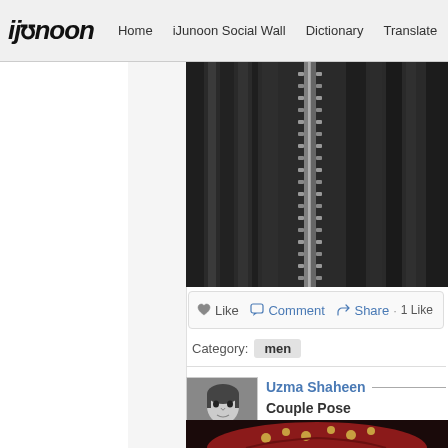iJunoon  Home  iJunoon Social Wall  Dictionary  Translate  Transli...
[Figure (photo): Close-up black and white photo of a zipper on a dark jacket]
Like  Comment  Share  1 Like
Category: men
Uzma Shaheen
Couple Pose
[Figure (photo): Black and white portrait photo of a woman (avatar)]
[Figure (photo): Photo of a red and gold embroidered turban/hat on dark background]